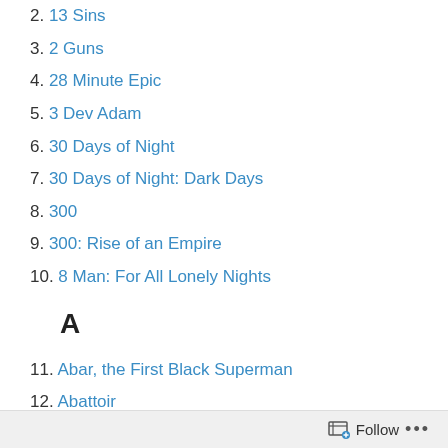2. 13 Sins
3. 2 Guns
4. 28 Minute Epic
5. 3 Dev Adam
6. 30 Days of Night
7. 30 Days of Night: Dark Days
8. 300
9. 300: Rise of an Empire
10. 8 Man: For All Lonely Nights
A
11. Abar, the First Black Superman
12. Abattoir
13. ABCs of Superheroes
Follow ...